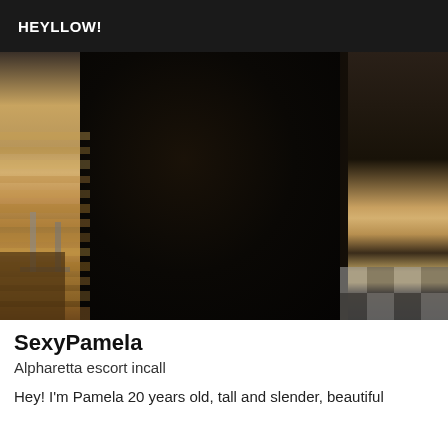HEYLLOW!
[Figure (photo): Close-up photo of a person wearing dark black leggings/pants, taken indoors with a wooden floor and office chair visible in the background on the left side.]
SexyPamela
Alpharetta escort incall
Hey! I'm Pamela 20 years old, tall and slender, beautiful